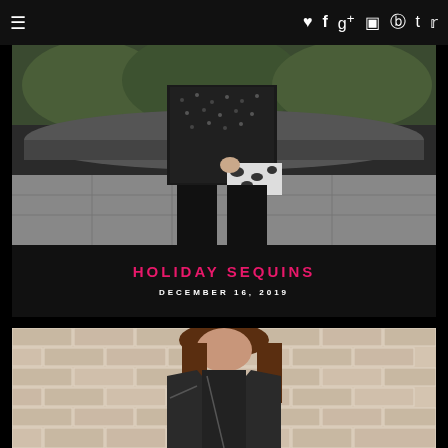≡  ♥ f g+ ⊡ ⊕ t 🐦
[Figure (photo): Fashion photo: person wearing black sequin top/dress with black leggings and holding a black and white clutch purse, standing in front of a curved stone planter with greenery]
HOLIDAY SEQUINS
DECEMBER 16, 2019
[Figure (photo): Fashion photo: person wearing black leather moto jacket standing in front of a white brick wall]